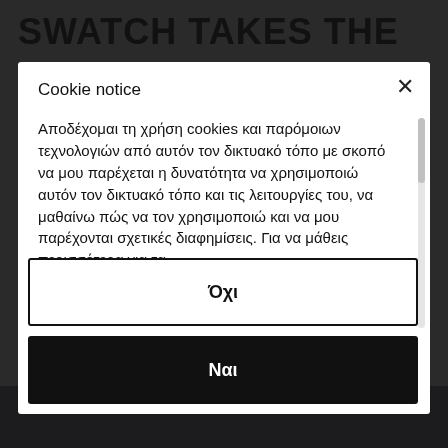SWATCH TAKES THE
Cookie notice
Αποδέχομαι τη χρήση cookies και παρόμοιων τεχνολογιών από αυτόν τον δικτυακό τόπο με σκοπό να μου παρέχεται η δυνατότητα να χρησιμοποιώ αυτόν τον δικτυακό τόπο και τις λειτουργίες του, να μαθαίνω πώς να τον χρησιμοποιώ και να μου παρέχονται σχετικές διαφημίσεις. Για να μάθεις περισσότερα για τα
Όχι
Ναι